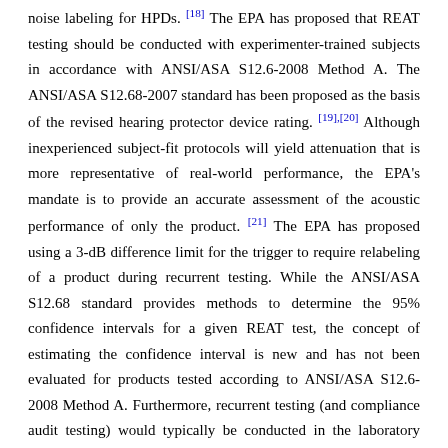noise labeling for HPDs. [18] The EPA has proposed that REAT testing should be conducted with experimenter-trained subjects in accordance with ANSI/ASA S12.6-2008 Method A. The ANSI/ASA S12.68-2007 standard has been proposed as the basis of the revised hearing protector device rating. [19],[20] Although inexperienced subject-fit protocols will yield attenuation that is more representative of real-world performance, the EPA's mandate is to provide an accurate assessment of the acoustic performance of only the product. [21] The EPA has proposed using a 3-dB difference limit for the trigger to require relabeling of a product during recurrent testing. While the ANSI/ASA S12.68 standard provides methods to determine the 95% confidence intervals for a given REAT test, the concept of estimating the confidence interval is new and has not been evaluated for products tested according to ANSI/ASA S12.6-2008 Method A. Furthermore, recurrent testing (and compliance audit testing) would typically be conducted in the laboratory where the product was originally tested. The study described herein provided a means of evaluating these questions prior to the promulgation of a final rule.

For this study, the effect of the training instructions - whether given as the manufacturer's printed instructions, a short video training specific to the various